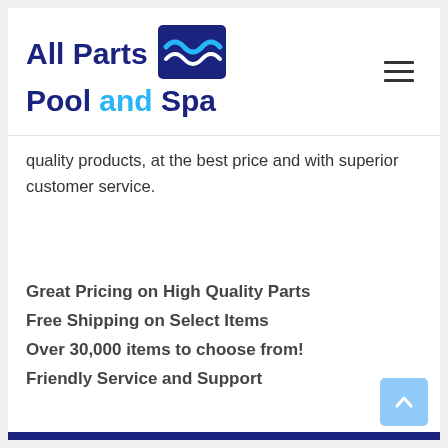[Figure (logo): All Parts Pool and Spa logo with wave icon in dark blue and light blue]
quality products, at the best price and with superior customer service.
Great Pricing on High Quality Parts
Free Shipping on Select Items
Over 30,000 items to choose from!
Friendly Service and Support